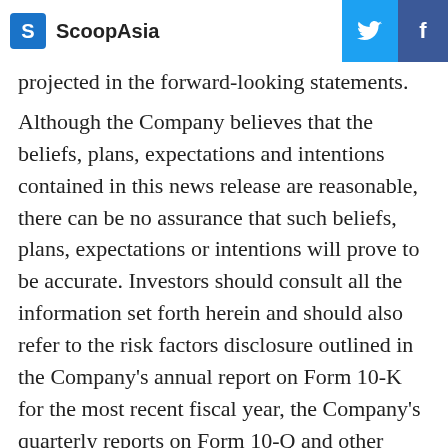ScoopAsia
projected in the forward-looking statements. Although the Company believes that the beliefs, plans, expectations and intentions contained in this news release are reasonable, there can be no assurance that such beliefs, plans, expectations or intentions will prove to be accurate. Investors should consult all the information set forth herein and should also refer to the risk factors disclosure outlined in the Company's annual report on Form 10-K for the most recent fiscal year, the Company's quarterly reports on Form 10-Q and other periodic reports filed from time-to-time with the Securities and Exchange Commission.